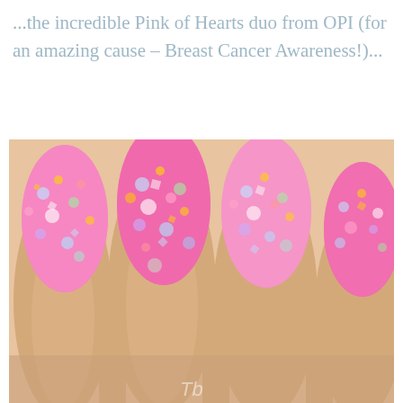...the incredible Pink of Hearts duo from OPI (for an amazing cause – Breast Cancer Awareness!)...
[Figure (photo): Close-up photo of four fingernails painted with bright pink glitter nail polish, showing multicolored glitter pieces on a pink base. A watermark 'Tb' is partially visible at the bottom center of the image.]
Get the latest pattern releases and giveaways, and receive your FREE Huggable Cowl Knitting Pattern!